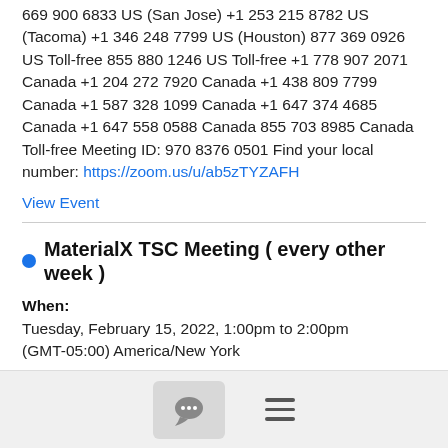669 900 6833 US (San Jose) +1 253 215 8782 US (Tacoma) +1 346 248 7799 US (Houston) 877 369 0926 US Toll-free 855 880 1246 US Toll-free +1 778 907 2071 Canada +1 204 272 7920 Canada +1 438 809 7799 Canada +1 587 328 1099 Canada +1 647 374 4685 Canada +1 647 558 0588 Canada 855 703 8985 Canada Toll-free Meeting ID: 970 8376 0501 Find your local number: https://zoom.us/u/ab5zTYZAFH
View Event
MaterialX TSC Meeting ( every other week )
When:
Tuesday, February 15, 2022, 1:00pm to 2:00pm (GMT-05:00) America/New York
Where:
https://zoom.us/j/97083760501
Organizer: Jonathan Stone jstone@...